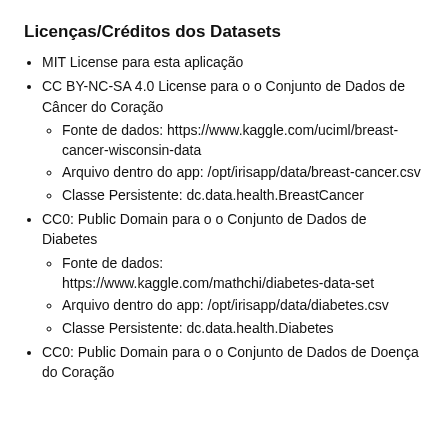Licenças/Créditos dos Datasets
MIT License para esta aplicação
CC BY-NC-SA 4.0 License para o o Conjunto de Dados de Câncer do Coração
Fonte de dados: https://www.kaggle.com/uciml/breast-cancer-wisconsin-data
Arquivo dentro do app: /opt/irisapp/data/breast-cancer.csv
Classe Persistente: dc.data.health.BreastCancer
CC0: Public Domain para o o Conjunto de Dados de Diabetes
Fonte de dados: https://www.kaggle.com/mathchi/diabetes-data-set
Arquivo dentro do app: /opt/irisapp/data/diabetes.csv
Classe Persistente: dc.data.health.Diabetes
CC0: Public Domain para o o Conjunto de Dados de Doença do Coração